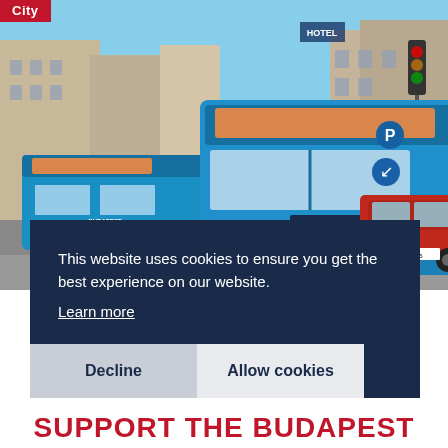[Figure (photo): Street scene in Budapest showing blue city buses (branded BUDAPFEST/IKARUS) driving on a wide urban boulevard, with a red car on the right, European-style buildings in the background, traffic signs and signals visible. Red 'City' badge in top-left corner.]
This website uses cookies to ensure you get the best experience on our website.
Learn more
Decline
Allow cookies
SUPPORT THE BUDAPEST